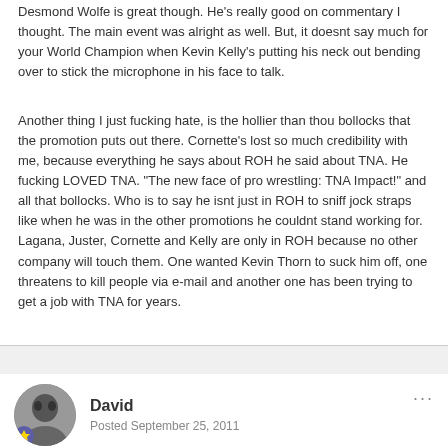Desmond Wolfe is great though. He's really good on commentary I thought. The main event was alright as well. But, it doesnt say much for your World Champion when Kevin Kelly's putting his neck out bending over to stick the microphone in his face to talk.
Another thing I just fucking hate, is the hollier than thou bollocks that the promotion puts out there. Cornette's lost so much credibility with me, because everything he says about ROH he said about TNA. He fucking LOVED TNA. "The new face of pro wrestling: TNA Impact!" and all that bollocks. Who is to say he isnt just in ROH to sniff jock straps like when he was in the other promotions he couldnt stand working for. Lagana, Juster, Cornette and Kelly are only in ROH because no other company will touch them. One wanted Kevin Thorn to suck him off, one threatens to kill people via e-mail and another one has been trying to get a job with TNA for years.
David
Posted September 25, 2011